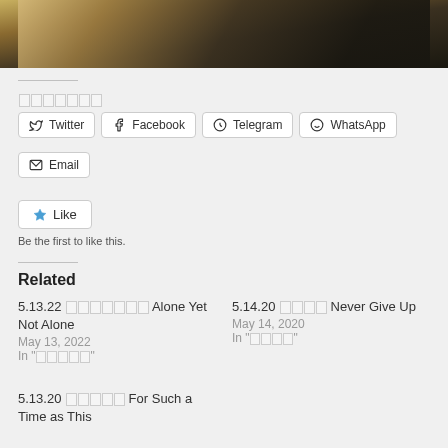[Figure (photo): Partial photo showing a person with musical instrument or microphone in a room with yellow/warm background]
Share this (characters in non-latin script)
Twitter
Facebook
Telegram
WhatsApp
Email
Like
Be the first to like this.
Related
5.13.22 [non-latin] Alone Yet Not Alone
May 13, 2022
In "[non-latin]"
5.14.20 [non-latin] Never Give Up
May 14, 2020
In "[non-latin]"
5.13.20 [non-latin] For Such a Time as This